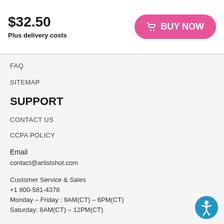$32.50
Plus delivery costs
BUY NOW
FAQ
SITEMAP
SUPPORT
CONTACT US
CCPA POLICY
Email
contact@artistshot.com
Customer Service & Sales
+1 800-581-4378
Monday – Friday : 9AM(CT) – 6PM(CT)
Saturday: 8AM(CT) – 12PM(CT)
Address
1607 W Orange Grove ave, UNIT C